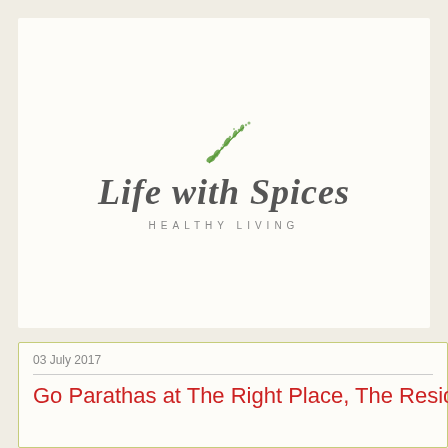[Figure (logo): Life with Spices blog logo: a small green sprig/herb illustration above stylized cursive text reading 'Life with Spices' in dark grey, with 'HEALTHY LIVING' in small spaced uppercase beneath]
03 July 2017
Go Parathas at The Right Place, The Residency